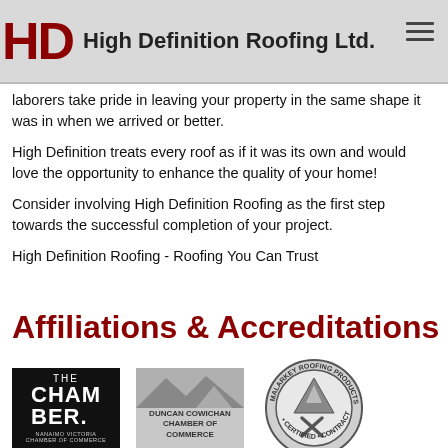HD High Definition Roofing Ltd.
laborers take pride in leaving your property in the same shape it was in when we arrived or better.
High Definition treats every roof as if it was its own and would love the opportunity to enhance the quality of your home!
Consider involving High Definition Roofing as the first step towards the successful completion of your project.
High Definition Roofing - Roofing You Can Trust
Affiliations & Accreditations
[Figure (logo): The Chamber - Nanaimo Victoria Chamber of Commerce logo (black background, white text)]
[Figure (logo): Duncan Cowichan Chamber of Commerce logo (gray background with mountain silhouette)]
[Figure (logo): Malarkey Roofing Products certified contractor circular badge logo]